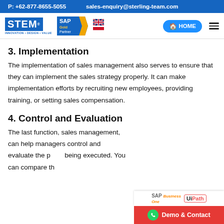P: +62-877-8655-5055    sales-enquiry@sterling-team.com
[Figure (logo): STEM logo with SAP Gold Partner badge, UK and Indonesia flags, Home button, and hamburger menu]
3. Implementation
The implementation of sales management also serves to ensure that they can implement the sales strategy properly. It can make implementation efforts by recruiting new employees, providing training, or setting sales compensation.
4. Control and Evaluation
The last function, sales management, can help managers control and evaluate the p... being executed. You can compare th...
[Figure (infographic): SAP Business One and UiPath logos with Demo & Contact WhatsApp button badge in bottom-right corner]